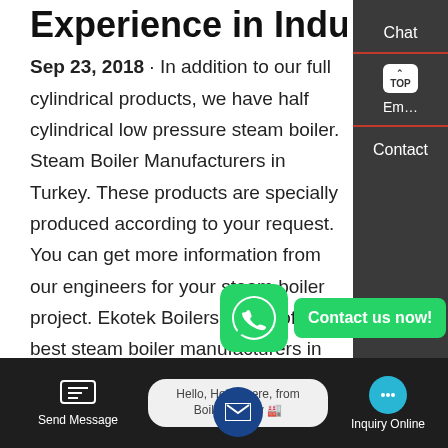Experience in Industrial Steam
Sep 23, 2018 · In addition to our full cylindrical products, we have half cylindrical low pressure steam boiler. Steam Boiler Manufacturers in Turkey. These products are specially produced according to your request. You can get more information from our engineers for your steam boiler project. Ekotek Boilers is one of the best steam boiler manufacturers in Turkey.
HOT NEWS
3 ton fire tube oil gas fired steam boiler prices for textile chemical
automatic controlled steam boiler Agent 75 ton
[Figure (screenshot): WhatsApp green icon button and 'Contact us now!' green button overlay]
[Figure (screenshot): Bottom navigation bar with Send Message, chat bubble, Inquiry Online, and a chat popup saying 'Hello, Helen here, from Boiler factory']